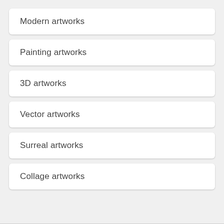Modern artworks
Painting artworks
3D artworks
Vector artworks
Surreal artworks
Collage artworks